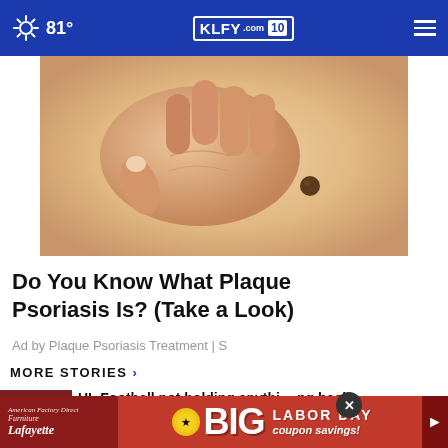81° KLFY.com 10
[Figure (photo): Close-up of a hand touching or examining a mole/skin lesion on human skin — related to plaque psoriasis article]
Do You Know What Plaque Psoriasis Is? (Take a Look)
Ad by Plaque Psoriasis Treatment | S
MORE STORIES ›
[Figure (photo): Video thumbnail for UL Football story with play button]
UL Football not holding anything back this...
[Figure (photo): Video thumbnail for Editorial: Note doubt about it story]
Editorial: Note doubt about it
[Figure (infographic): Red banner advertisement: BIG LABOR DAY coupon savings! from American Factory Direct Furniture Lafayette]